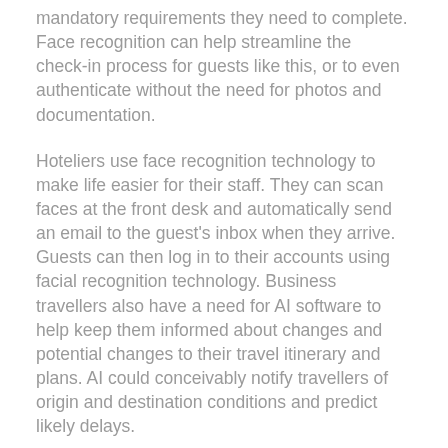mandatory requirements they need to complete. Face recognition can help streamline the check-in process for guests like this, or to even authenticate without the need for photos and documentation.
Hoteliers use face recognition technology to make life easier for their staff. They can scan faces at the front desk and automatically send an email to the guest's inbox when they arrive. Guests can then log in to their accounts using facial recognition technology. Business travellers also have a need for AI software to help keep them informed about changes and potential changes to their travel itinerary and plans. AI could conceivably notify travellers of origin and destination conditions and predict likely delays.
Face recognition technology is also being used by hotels to identify guests who check into their rooms. This allows them to quickly customise services offered to guests based on their activities and time spent in their rooms.